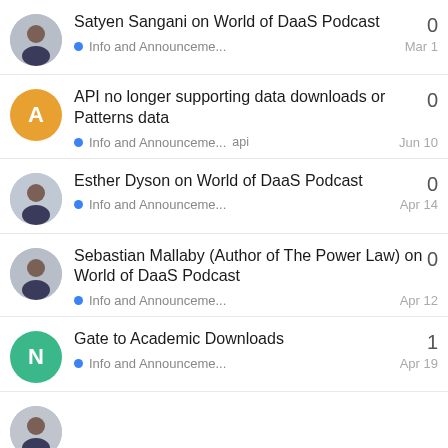Satyen Sangani on World of DaaS Podcast | Info and Announceme... | Mar 1 | 0
API no longer supporting data downloads or Patterns data | Info and Announceme... api | Jun 10 | 0
Esther Dyson on World of DaaS Podcast | Info and Announceme... | Apr 14 | 0
Sebastian Mallaby (Author of The Power Law) on World of DaaS Podcast | Info and Announceme... | Apr 12 | 0
Gate to Academic Downloads | Info and Announceme... | Apr 19 | 1
(partial row visible at bottom)